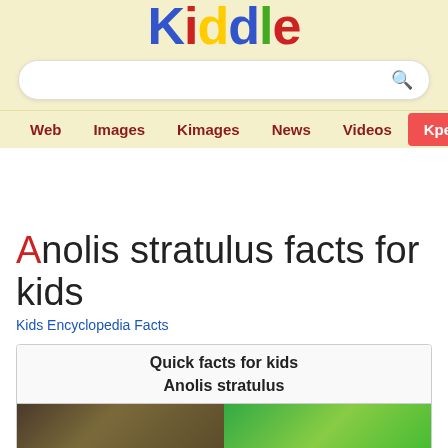Kiddle
Web  Images  Kimages  News  Videos  Kpedia
Anolis stratulus facts for kids
Kids Encyclopedia Facts
| Quick facts for kids | Anolis stratulus |
| --- | --- |